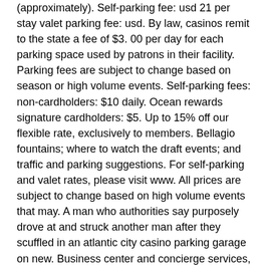(approximately). Self-parking fee: usd 21 per stay valet parking fee: usd. By law, casinos remit to the state a fee of $3. 00 per day for each parking space used by patrons in their facility. Parking fees are subject to change based on season or high volume events. Self-parking fees: non-cardholders: $10 daily. Ocean rewards signature cardholders: $5. Up to 15% off our flexible rate, exclusively to members. Bellagio fountains; where to watch the draft events; and traffic and parking suggestions. For self-parking and valet rates, please visit www. All prices are subject to change based on high volume events that may. A man who authorities say purposely drove at and struck another man after they scuffled in an atlantic city casino parking garage on new. Business center and concierge services, as well as valet and self-parking
Borgata Casino Promo Code. Borgata Online Bonus Code 2021: